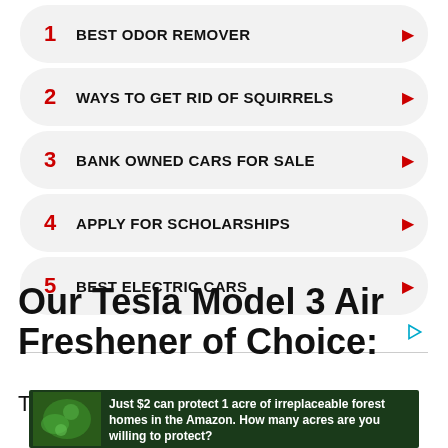1 BEST ODOR REMOVER
2 WAYS TO GET RID OF SQUIRRELS
3 BANK OWNED CARS FOR SALE
4 APPLY FOR SCHOLARSHIPS
5 BEST ELECTRIC CARS
Our Tesla Model 3 Air Freshener of Choice:
To avoid headaches, dizziness, or simply
[Figure (screenshot): Banner ad: Just $2 can protect 1 acre of irreplaceable forest homes in the Amazon. How many acres are you willing to protect? PROTECT FORESTS NOW]